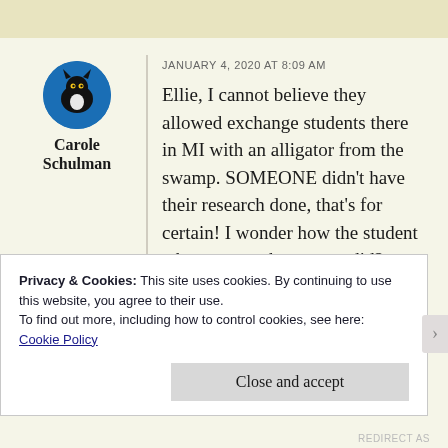Carole Schulman
JANUARY 4, 2020 AT 8:09 AM
Ellie, I cannot believe they allowed exchange students there in MI with an alligator from the swamp. SOMEONE didn't have their research done, that's for certain! I wonder how the student who came to the swamp did?
Privacy & Cookies: This site uses cookies. By continuing to use this website, you agree to their use.
To find out more, including how to control cookies, see here:
Cookie Policy
Close and accept